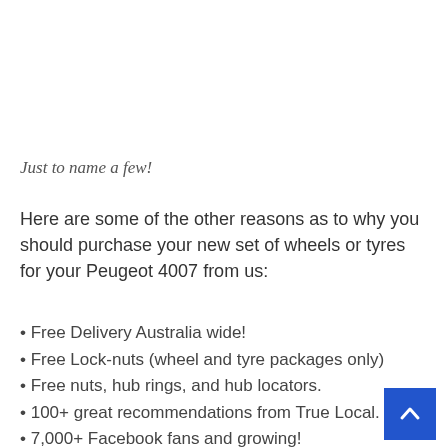Just to name a few!
Here are some of the other reasons as to why you should purchase your new set of wheels or tyres for your Peugeot 4007 from us:
Free Delivery Australia wide!
Free Lock-nuts (wheel and tyre packages only)
Free nuts, hub rings, and hub locators.
100+ great recommendations from True Local.
7,000+ Facebook fans and growing!